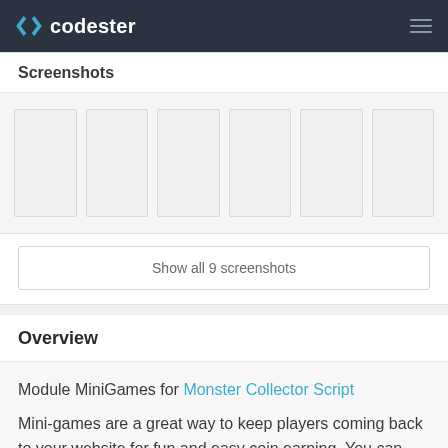codester
Screenshots
[Figure (screenshot): Six screenshot thumbnail placeholders shown as empty light gray rectangles in a horizontal row]
Show all 9 screenshots
Overview
Module MiniGames for Monster Collector Script
Mini-games are a great way to keep players coming back to your website for fun and easy coin earning. You can